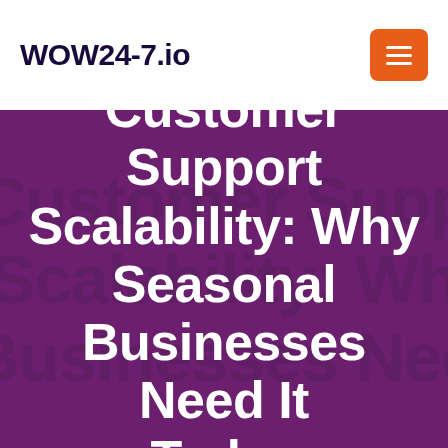WOW24-7.io
Customer Support Scalability: Why Seasonal Businesses Need It Today